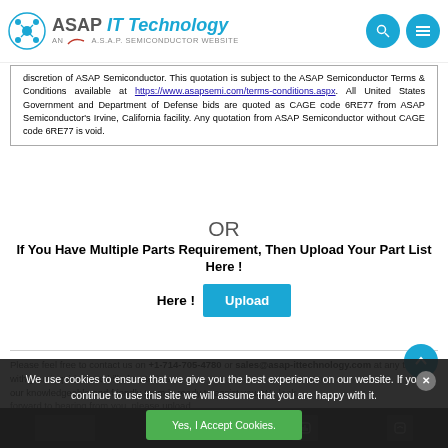ASAP IT Technology - AN A.S.A.P. SEMICONDUCTOR WEBSITE
discretion of ASAP Semiconductor. This quotation is subject to the ASAP Semiconductor Terms & Conditions available at https://www.asapsemi.com/terms-conditions.aspx. All United States Government and Department of Defense bids are quoted as CAGE code 6RE77 from ASAP Semiconductor's Irvine, California facility. Any quotation from ASAP Semiconductor without CAGE code 6RE77 is void.
OR
If You Have Multiple Parts Requirement, Then Upload Your Part List Here !
Please feel free to contact us on +1-714-705-4780 or sales@asap-ittechnology.com at any time with your inquiries and bill of materials; our knowledgeable and friendly team is ready to assist you. We look forward to hearing from you; please upload...
We use cookies to ensure that we give you the best experience on our website. If you continue to use this site we will assume that you are happy with it.